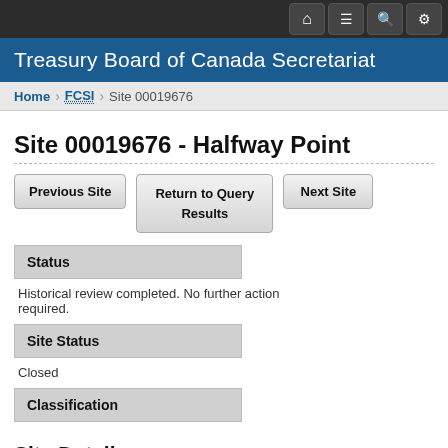Treasury Board of Canada Secretariat
Home > FCSI > Site 00019676
Site 00019676 - Halfway Point
Previous Site | Return to Query Results | Next Site
Status
Historical review completed. No further action required.
Site Status
Closed
Classification
Site Details